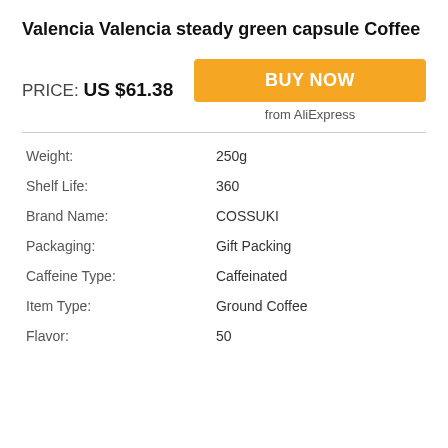Valencia Valencia steady green capsule Coffee
PRICE: US $61.38
BUY NOW
from AliExpress
| Attribute | Value |
| --- | --- |
| Weight: | 250g |
| Shelf Life: | 360 |
| Brand Name: | COSSUKI |
| Packaging: | Gift Packing |
| Caffeine Type: | Caffeinated |
| Item Type: | Ground Coffee |
| Flavor: | 50 |